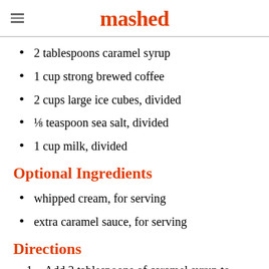mashed
2 tablespoons caramel syrup
1 cup strong brewed coffee
2 cups large ice cubes, divided
⅛ teaspoon sea salt, divided
1 cup milk, divided
Optional Ingredients
whipped cream, for serving
extra caramel sauce, for serving
Directions
Add 2 tablespoons of caramel syrup to